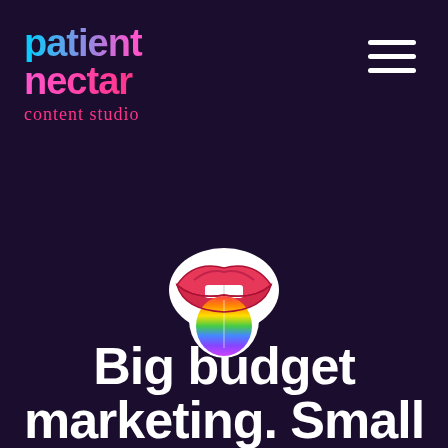[Figure (logo): Patient Nectar content studio logo with colorful gradient text and script subtitle]
[Figure (illustration): Rainbow tongue / lips emoji sticker illustration, similar to Rolling Stones logo with rainbow-colored tongue]
Big budget marketing. Small